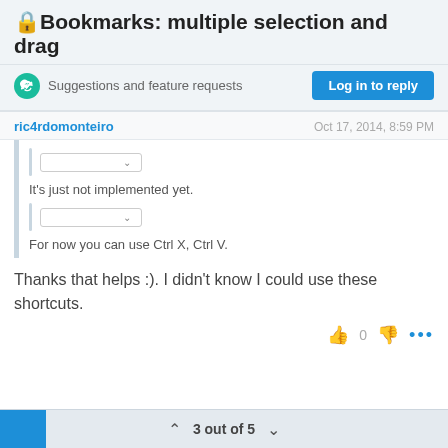🔒Bookmarks: multiple selection and drag
Suggestions and feature requests
Log in to reply
ric4rdomonteiro
Oct 17, 2014, 8:59 PM
It's just not implemented yet.
For now you can use Ctrl X, Ctrl V.
Thanks that helps :). I didn't know I could use these shortcuts.
3 out of 5